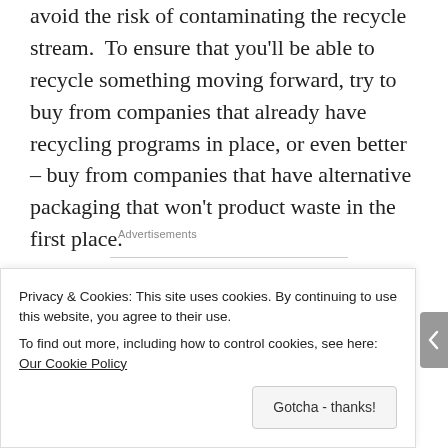avoid the risk of contaminating the recycle stream. To ensure that you'll be able to recycle something moving forward, try to buy from companies that already have recycling programs in place, or even better – buy from companies that have alternative packaging that won't product waste in the first place.
[Figure (logo): Automattic logo with stylized letter O containing a blue ring]
Privacy & Cookies: This site uses cookies. By continuing to use this website, you agree to their use.
To find out more, including how to control cookies, see here: Our Cookie Policy